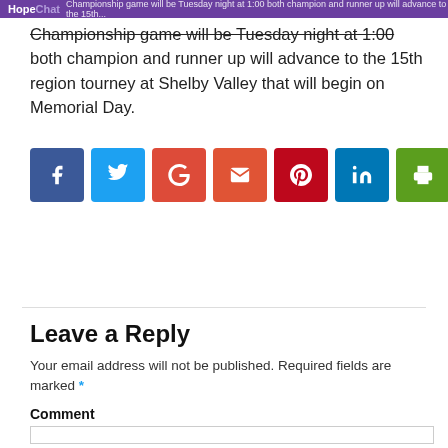HopeChat — Championship game will be Tuesday night at 1:00 both champion and runner up will advance to the 15th region tourney at Shelby Valley that will begin on Memorial Day.
Championship game will be Tuesday night at 1:00 both champion and runner up will advance to the 15th region tourney at Shelby Valley that will begin on Memorial Day.
[Figure (infographic): Row of social share buttons: Facebook (dark blue), Twitter (light blue), Google+ (orange-red), Email (red-orange), Pinterest (dark red), LinkedIn (blue), Print (green)]
Leave a Reply
Your email address will not be published. Required fields are marked *
Comment